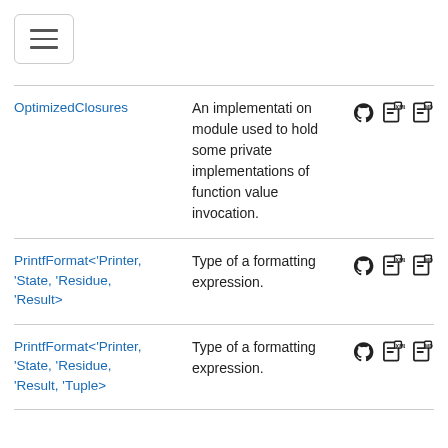[Figure (other): Hamburger menu icon button with three horizontal lines, inside a rounded rectangle border]
| Name | Description | Links |
| --- | --- | --- |
| OptimizedClosures | An implementation module used to hold some private implementations of function value invocation. | [icons] |
| PrintfFormat<'Printer, 'State, 'Residue, 'Result> | Type of a formatting expression. | [icons] |
| PrintfFormat<'Printer, 'State, 'Residue, 'Result, 'Tuple> | Type of a formatting expression. | [icons] |